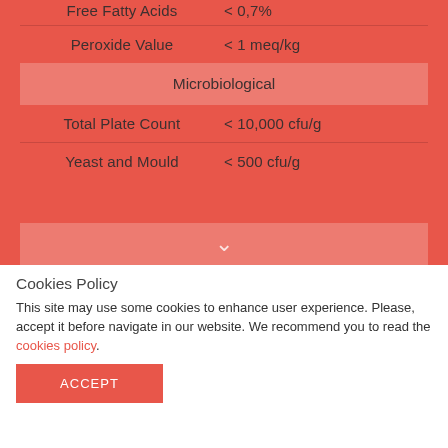Free Fatty Acids   < 0,7%
Peroxide Value   < 1 meq/kg
Microbiological
Total Plate Count   < 10,000 cfu/g
Yeast and Mould   < 500 cfu/g
Cookies Policy
This site may use some cookies to enhance user experience. Please, accept it before navigate in our website. We recommend you to read the cookies policy.
ACCEPT